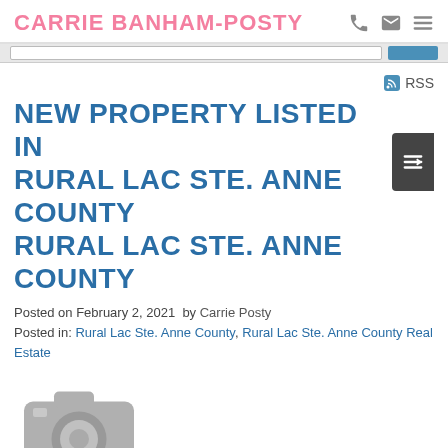CARRIE BANHAM-POSTY
NEW PROPERTY LISTED IN RURAL LAC STE. ANNE COUNTY RURAL LAC STE. ANNE COUNTY
Posted on February 2, 2021 by Carrie Posty
Posted in: Rural Lac Ste. Anne County, Rural Lac Ste. Anne County Real Estate
[Figure (photo): Camera placeholder icon in gray]